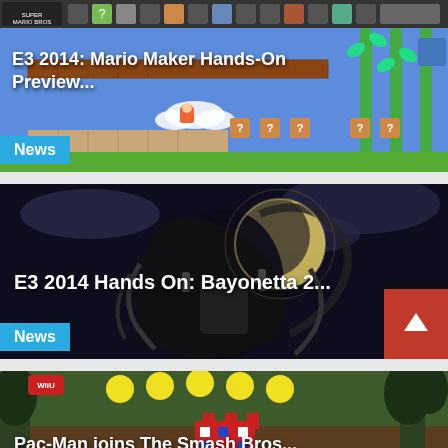[Figure (screenshot): Mario Maker game screenshot showing level editor with colorful blocks, pipes, and Mario character on a blue sky background]
E3 2014: Mario Maker Hands-On Preview...
News
[Figure (screenshot): Bayonetta 2 promotional artwork showing the character in dark fantasy setting with moon in background]
E3 2014 Hands On: Bayonetta 2...
News
[Figure (screenshot): Partially visible game screenshot showing a garden/nature scene with yellow coins and a pixel art structure]
Pac-Man joins The Smash Bros...